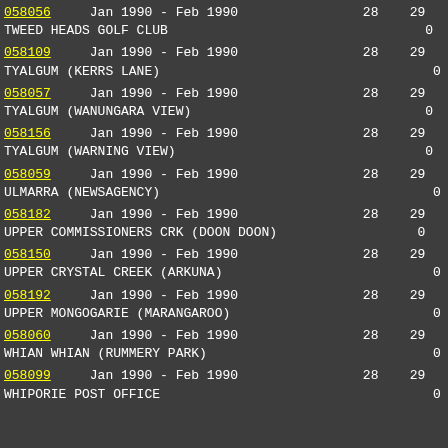| Station ID | Date Range | 28 | 29 | 30 |
| --- | --- | --- | --- | --- |
| 058056 | Jan 1990 - Feb 1990 | 28 | 29 | 30 |
| TWEED HEADS GOLF CLUB |  | 0 | 0 | 11.4 |
| 058109 | Jan 1990 - Feb 1990 | 28 | 29 | 30 |
| TYALGUM (KERRS LANE) |  | 0 | 0 | 3.0 |
| 058057 | Jan 1990 - Feb 1990 | 28 | 29 | 30 |
| TYALGUM (WANUNGARA VIEW) |  | 0 | 0 | 1.0 |
| 058156 | Jan 1990 - Feb 1990 | 28 | 29 | 30 |
| TYALGUM (WARNING VIEW) |  | 0 | 0 | 1.0 |
| 058059 | Jan 1990 - Feb 1990 | 28 | 29 | 30 |
| ULMARRA (NEWSAGENCY) |  | 0 | 4.2 | 0 |
| 058182 | Jan 1990 - Feb 1990 | 28 | 29 | 30 |
| UPPER COMMISSIONERS CRK (DOON DOON) |  | 0 | 1.0 | 18.0 |
| 058150 | Jan 1990 - Feb 1990 | 28 | 29 | 30 |
| UPPER CRYSTAL CREEK (ARKUNA) |  | 0 | 0 | 7.0 |
| 058192 | Jan 1990 - Feb 1990 | 28 | 29 | 30 |
| UPPER MONGOGARIE (MARANGAROO) |  | 0 | 5.6 | 1.8 |
| 058060 | Jan 1990 - Feb 1990 | 28 | 29 | 30 |
| WHIAN WHIAN (RUMMERY PARK) |  | 0 | 1.0 | - |
| 058099 | Jan 1990 - Feb 1990 | 28 | 29 | 30 |
| WHIPORIE POST OFFICE |  | 0 | 3.0 | 3.0 |